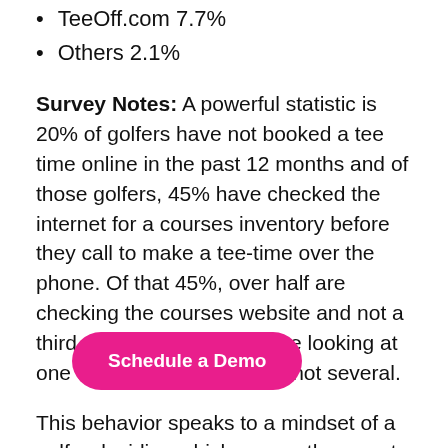TeeOff.com 7.7%
Others 2.1%
Survey Notes: A powerful statistic is 20% of golfers have not booked a tee time online in the past 12 months and of those golfers, 45% have checked the internet for a courses inventory before they call to make a tee-time over the phone. Of that 45%, over half are checking the courses website and not a third party, meaning they are looking at one course's inventory and not several.
This behavior speaks to a mindset of a golfer deciding which course they want to play and where they can book a tee time for the lowest rate. They are not looking
[Figure (other): Pink 'Schedule a Demo' button overlay]